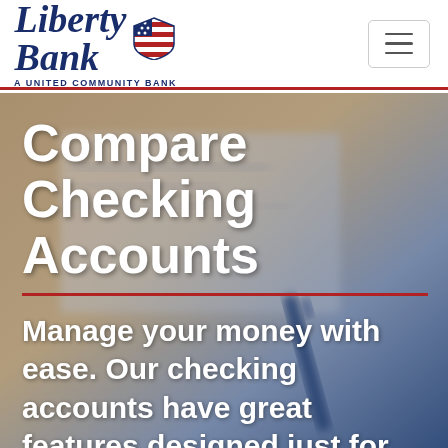[Figure (logo): Liberty Bank logo with American flag icon and tagline 'A United Community Bank']
[Figure (other): Hamburger/navigation menu button (three horizontal lines) in top right corner]
[Figure (photo): Blurred background photo of a bank check being written with a pen, with warm tan and cool blue tones]
Compare Checking Accounts
Manage your money with ease. Our checking accounts have great features designed just for you!